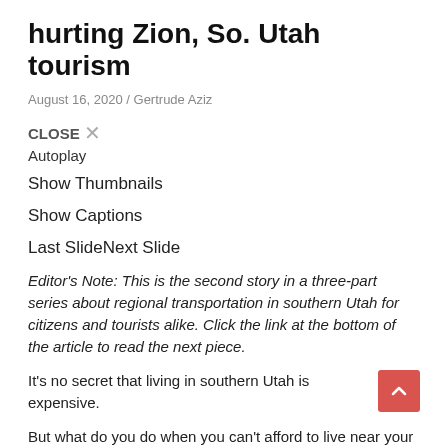hurting Zion, So. Utah tourism
August 16, 2020 / Gertrude Aziz
CLOSE ✕
Autoplay
Show Thumbnails
Show Captions
Last SlideNext Slide
Editor's Note: This is the second story in a three-part series about regional transportation in southern Utah for citizens and tourists alike. Click the link at the bottom of the article to read the next piece.
It's no secret that living in southern Utah is expensive.
But what do you do when you can't afford to live near your workplace, and there's no public transportation to help you get there?